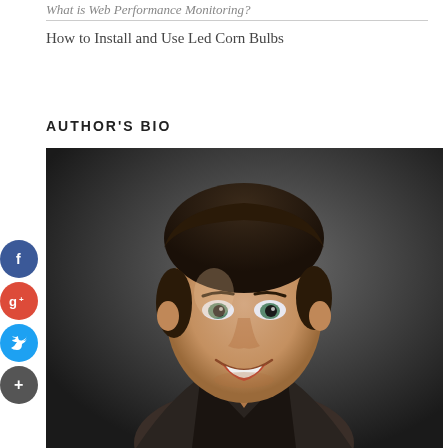What is Web Performance Monitoring?
How to Install and Use Led Corn Bulbs
AUTHOR'S BIO
[Figure (photo): Professional headshot of a smiling young man with dark hair, wearing a dark jacket, against a dark grey background. Social media share buttons (Facebook, Google+, Twitter, More) are overlaid on the left side.]